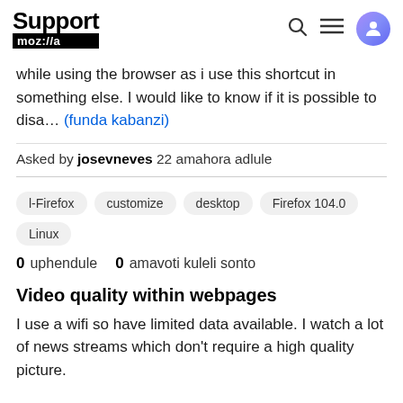Support mozilla//a
while using the browser as i use this shortcut in something else. I would like to know if it is possible to disa… (funda kabanzi)
Asked by josevneves 22 amahora adlule
l-Firefox
customize
desktop
Firefox 104.0
Linux
0 uphendule   0 amavoti kuleli sonto
Video quality within webpages
I use a wifi so have limited data available. I watch a lot of news streams which don't require a high quality picture.